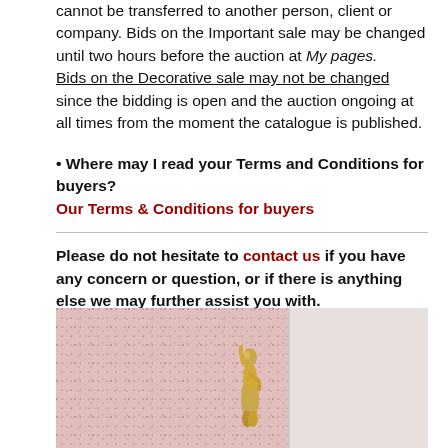cannot be transferred to another person, client or company. Bids on the Important sale may be changed until two hours before the auction at My pages. Bids on the Decorative sale may not be changed since the bidding is open and the auction ongoing at all times from the moment the catalogue is published.
• Where may I read your Terms and Conditions for buyers?
Our Terms & Conditions for buyers
Please do not hesitate to contact us if you have any concern or question, or if there is anything else we may further assist you with.
[Figure (photo): Photo of a decorative gold figurine against a pink speckled textured background with a lighter section on the right side]